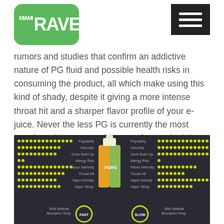RAVE (Miami Rave logo with hamburger menu)
rumors and studies that confirm an addictive nature of PG fluid and possible health risks in consuming the product, all which make using this kind of shady, despite it giving a more intense throat hit and a sharper flavor profile of your e-juice. Never the less PG is currently the most popular substance used in manufactured e-juices and liquids. If deciding to go this route make sure to read the label carefully and purchase only 100 percent food grade USP.
[Figure (infographic): Infographic comparing PG vs VG e-liquid properties including Popularity, Viscosity, Gunk Build Up, Allergy Risk, Flavor Intensity, Throat Hit, Vapor Density, Vapor Temp, and Wick Material Absorption Time with dot ratings and speed indicators (FAST/SLOW). Central image shows a bottle split between orange PG and green VG halves.]